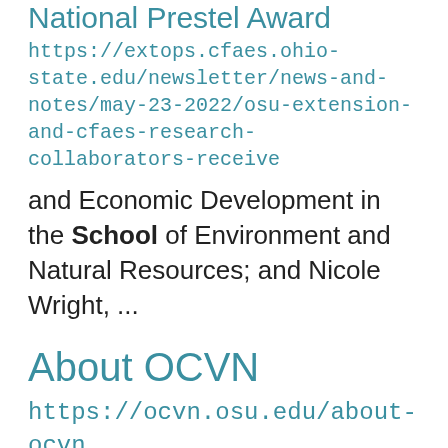National Prestel Award
https://extops.cfaes.ohio-state.edu/newsletter/news-and-notes/may-23-2022/osu-extension-and-cfaes-research-collaborators-receive
and Economic Development in the School of Environment and Natural Resources; and Nicole Wright, ...
About OCVN
https://ocvn.osu.edu/about-ocvn
is managed by the statewide office located in the School of Environment and Natural Resources at The ...
Ohio Cropland Values and Cash